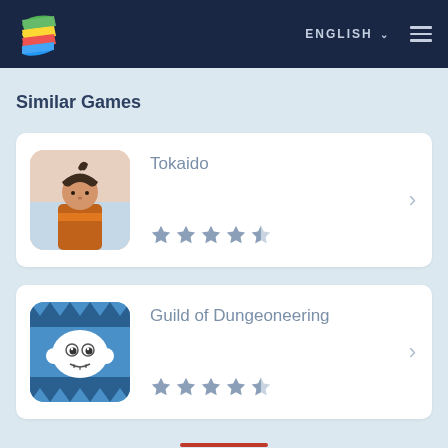BlueStacks — ENGLISH
Similar Games
[Figure (illustration): Tokaido game icon — anime-style character with orange outfit]
Tokaido — 4.5 star rating
[Figure (illustration): Guild of Dungeoneering game icon — white blob monster on blue background with hand-drawn style]
Guild of Dungeoneering — 4.5 star rating